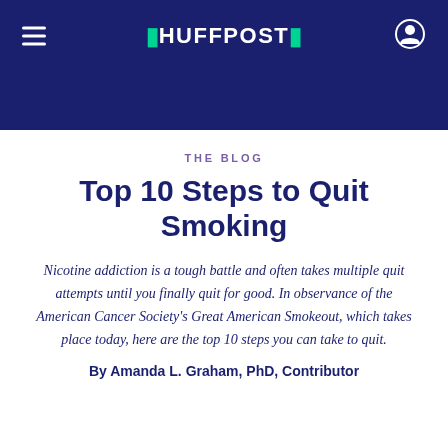HUFFPOST
THE BLOG
Top 10 Steps to Quit Smoking
Nicotine addiction is a tough battle and often takes multiple quit attempts until you finally quit for good. In observance of the American Cancer Society's Great American Smokeout, which takes place today, here are the top 10 steps you can take to quit.
By Amanda L. Graham, PhD, Contributor